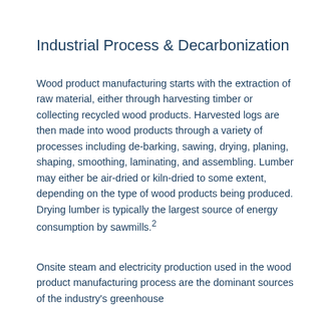Industrial Process & Decarbonization
Wood product manufacturing starts with the extraction of raw material, either through harvesting timber or collecting recycled wood products. Harvested logs are then made into wood products through a variety of processes including de-barking, sawing, drying, planing, shaping, smoothing, laminating, and assembling. Lumber may either be air-dried or kiln-dried to some extent, depending on the type of wood products being produced. Drying lumber is typically the largest source of energy consumption by sawmills.2
Onsite steam and electricity production used in the wood product manufacturing process are the dominant sources of the industry's greenhouse...